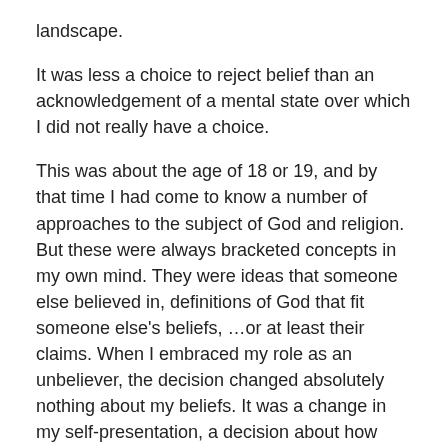landscape.
It was less a choice to reject belief than an acknowledgement of a mental state over which I did not really have a choice.
This was about the age of 18 or 19, and by that time I had come to know a number of approaches to the subject of God and religion. But these were always bracketed concepts in my own mind. They were ideas that someone else believed in, definitions of God that fit someone else's beliefs, …or at least their claims. When I embraced my role as an unbeliever, the decision changed absolutely nothing about my beliefs. It was a change in my self-presentation, a decision about how best to describe the beliefs (or the lack thereof) that I already had.